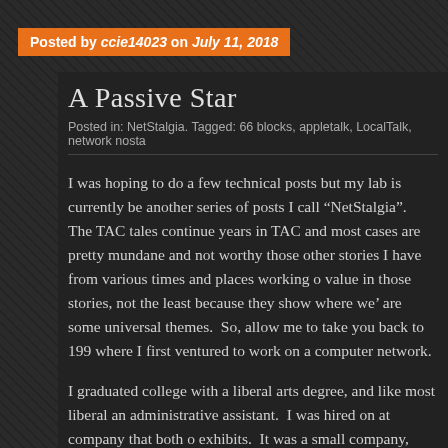Posted by ccie14023 on July 11, 2018
A Passive Star
Posted in: NetStalgia. Tagged: 66 blocks, appletalk, LocalTalk, network nosta
I was hoping to do a few technical posts but my lab is currently be another series of posts I call “NetStalgia”.  The TAC tales continue years in TAC and most cases are pretty mundane and not worthy those other stories I have from various times and places working o value in those stories, not the least because they show where we’ are some universal themes.  So, allow me to take you back to 199 where I first ventured to work on a computer network.
I graduated college with a liberal arts degree, and like most liberal an administrative assistant.  I was hired on at company that both o exhibits.  It was a small company, with around 60 people, half of w building the exhibits, while the other half worked as designers and consisted of carpenters, muralists, large and small model builders. The designers were architects, graphic designers, and museum d workers/designers had their own computers, so it was a quite...